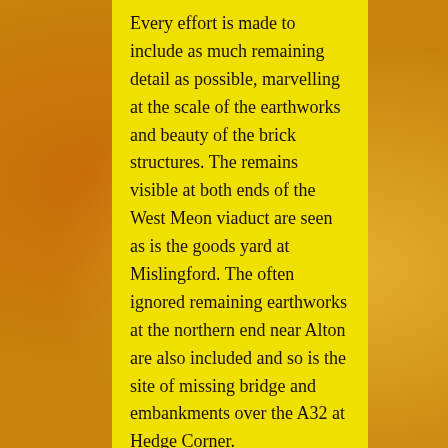Every effort is made to include as much remaining detail as possible, marvelling at the scale of the earthworks and beauty of the brick structures. The remains visible at both ends of the West Meon viaduct are seen as is the goods yard at Mislingford. The often ignored remaining earthworks at the northern end near Alton are also included and so is the site of missing bridge and embankments over the A32 at Hedge Corner.
Views of Droxford station are only those from the public way, but the inclusion of background and this...